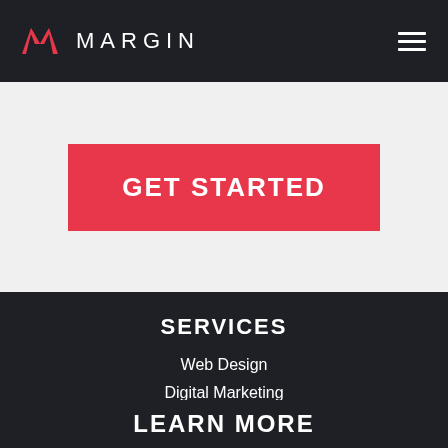MARGIN
[Figure (logo): Margin logo with red M icon and white MARGIN text, hamburger menu icon on the right]
GET STARTED
SERVICES
Web Design
Digital Marketing
Social Media
LEARN MORE